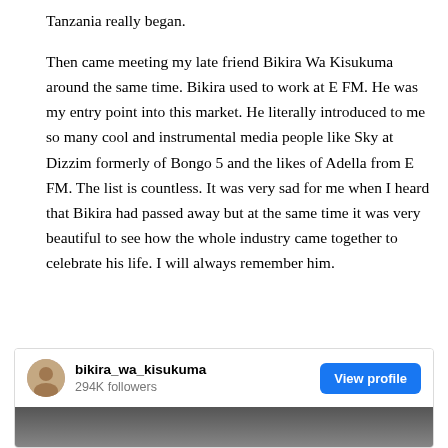Tanzania really began.
Then came meeting my late friend Bikira Wa Kisukuma around the same time. Bikira used to work at E FM. He was my entry point into this market. He literally introduced to me so many cool and instrumental media people like Sky at Dizzim formerly of Bongo 5 and the likes of Adella from E FM. The list is countless. It was very sad for me when I heard that Bikira had passed away but at the same time it was very beautiful to see how the whole industry came together to celebrate his life. I will always remember him.
[Figure (screenshot): Instagram profile card showing bikira_wa_kisukuma with 294K followers and a View profile button, with a partial black and white photo below]